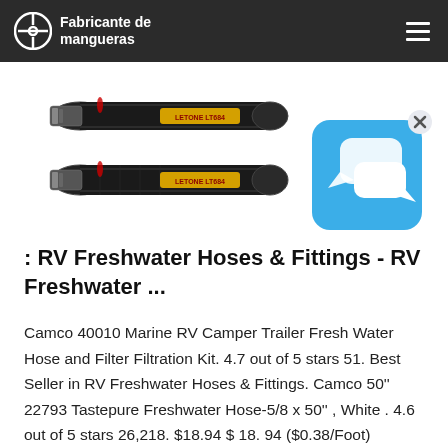Fabricante de mangueras
[Figure (photo): Two black rubber hoses with yellow 'LETONE LT684' labels shown in an angled view, stacked one atop the other.]
[Figure (screenshot): Blue chat/messaging app icon with speech bubbles and an X close button in the upper right corner.]
: RV Freshwater Hoses & Fittings - RV Freshwater ...
Camco 40010 Marine RV Camper Trailer Fresh Water Hose and Filter Filtration Kit. 4.7 out of 5 stars 51. Best Seller in RV Freshwater Hoses & Fittings. Camco 50'' 22793 Tastepure Freshwater Hose-5/8 x 50'' , White . 4.6 out of 5 stars 26,218. $18.94 $ 18. 94 ($0.38/Foot)